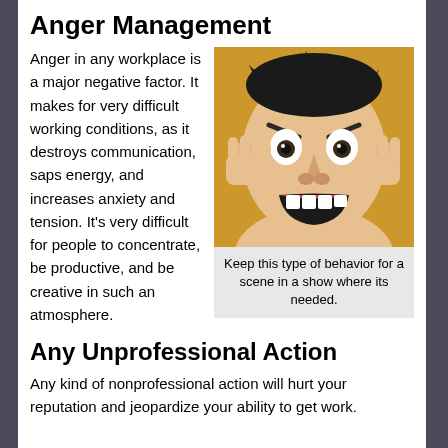Anger Management
Anger in any workplace is a major negative factor. It makes for very difficult working conditions, as it destroys communication, saps energy, and increases anxiety and tension. It's very difficult for people to concentrate, be productive, and be creative in such an atmosphere.
[Figure (photo): A man with an angry expression, hands raised near his face with fingers curled, mouth open wide, against an orange/golden background.]
Keep this type of behavior for a scene in a show where its needed.
Any Unprofessional Action
Any kind of nonprofessional action will hurt your reputation and jeopardize your ability to get work.